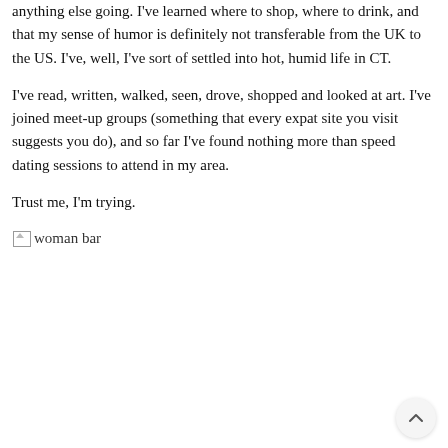anything else going. I've learned where to shop, where to drink, and that my sense of humor is definitely not transferable from the UK to the US. I've, well, I've sort of settled into hot, humid life in CT.
I've read, written, walked, seen, drove, shopped and looked at art. I've joined meet-up groups (something that every expat site you visit suggests you do), and so far I've found nothing more than speed dating sessions to attend in my area.
Trust me, I'm trying.
[Figure (photo): Broken image placeholder with alt text 'woman bar']